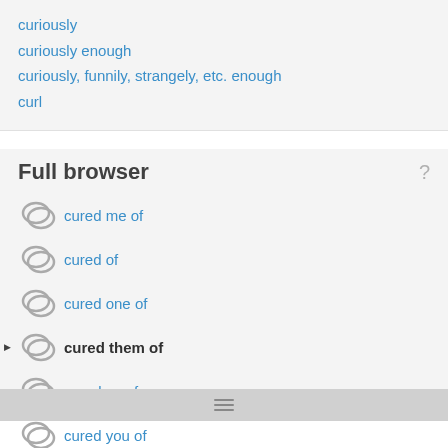curiously
curiously enough
curiously, funnily, strangely, etc. enough
curl
Full browser
cured me of
cured of
cured one of
cured them of
cured us of
cured you of
Cured-In Place Liner Pipe
Cured-in-Place